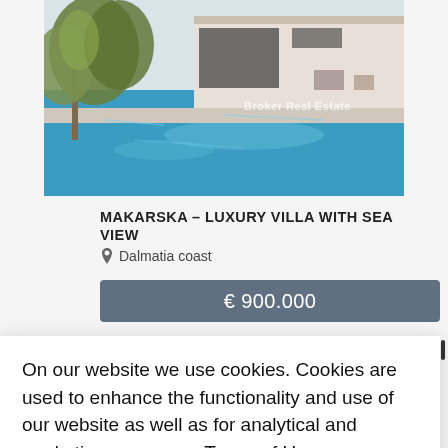[Figure (photo): Luxury villa with swimming pool and sea view, olive tree in foreground, 'Broker Real Estate' watermark visible]
MAKARSKA - LUXURY VILLA WITH SEA VIEW
Dalmatia coast
€ 900.000
On our website we use cookies. Cookies are used to enhance the functionality and use of our website as well as for analytical and marketing purposes.  Terms of Use
I accept Cookies